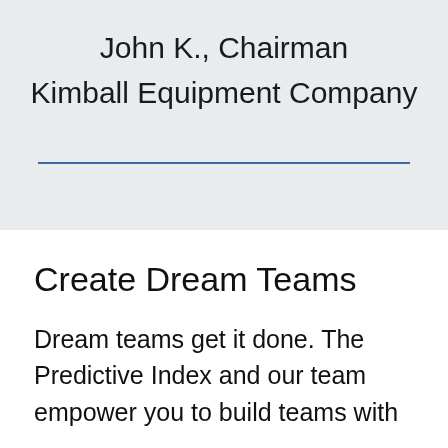John K., Chairman
Kimball Equipment Company
Create Dream Teams
Dream teams get it done. The Predictive Index and our team empower you to build teams with